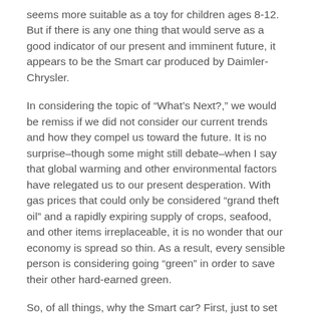seems more suitable as a toy for children ages 8-12. But if there is any one thing that would serve as a good indicator of our present and imminent future, it appears to be the Smart car produced by Daimler-Chrysler.
In considering the topic of “What’s Next?,” we would be remiss if we did not consider our current trends and how they compel us toward the future. It is no surprise–though some might still debate–when I say that global warming and other environmental factors have relegated us to our present desperation. With gas prices that could only be considered “grand theft oil” and a rapidly expiring supply of crops, seafood, and other items irreplaceable, it is no wonder that our economy is spread so thin. As a result, every sensible person is considering going “green” in order to save their other hard-earned green.
So, of all things, why the Smart car? First, just to set